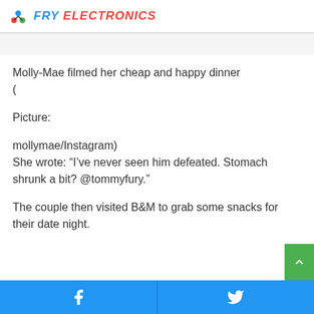FRY ELECTRONICS
Molly-Mae filmed her cheap and happy dinner
(

Picture:

mollymae/Instagram)
She wrote: “I’ve never seen him defeated. Stomach shrunk a bit? @tommyfury.”

The couple then visited B&M to grab some snacks for their date night.